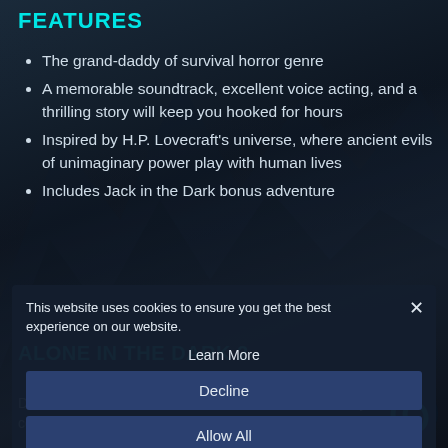FEATURES
The grand-daddy of survival horror genre
A memorable soundtrack, excellent voice acting, and a thrilling story will keep you hooked for hours
Inspired by H.P. Lovecraft's universe, where ancient evils of unimaginary power play with human lives
Includes Jack in the Dark bonus adventure
This website uses cookies to ensure you get the best experience on our website.
Learn More
Decline
Allow All
ALONE IN THE DARK 2
Dark, this new adventure sees our hero, Edward Carnby, in 1923 confronting the many faces of evil in